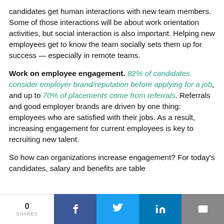candidates get human interactions with new team members. Some of those interactions will be about work orientation activities, but social interaction is also important. Helping new employees get to know the team socially sets them up for success — especially in remote teams.
Work on employee engagement. 82% of candidates consider employer brand/reputation before applying for a job, and up to 70% of placements come from referrals. Referrals and good employer brands are driven by one thing: employees who are satisfied with their jobs. As a result, increasing engagement for current employees is key to recruiting new talent.
So how can organizations increase engagement? For today's candidates, salary and benefits are table
0 SHARES  f  t  in  mail